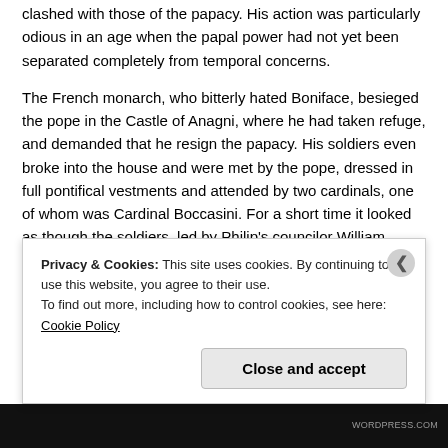clashed with those of the papacy. His action was particularly odious in an age when the papal power had not yet been separated completely from temporal concerns.
The French monarch, who bitterly hated Boniface, besieged the pope in the Castle of Anagni, where he had taken refuge, and demanded that he resign the papacy. His soldiers even broke into the house and were met by the pope, dressed in full pontifical vestments and attended by two cardinals, one of whom was Cardinal Boccasini. For a short time it looked as though the soldiers, led by Philip's councilor William Nogaret, might kill all three of them, but they refrained from such a terrible crime and finally withdrew after Nicholas rallied the papal forces and rescued Boniface from Anagni.
Cardinal Boccasini set about the difficult task of swinging public opinion to t... P...
Privacy & Cookies: This site uses cookies. By continuing to use this website, you agree to their use.
To find out more, including how to control cookies, see here: Cookie Policy